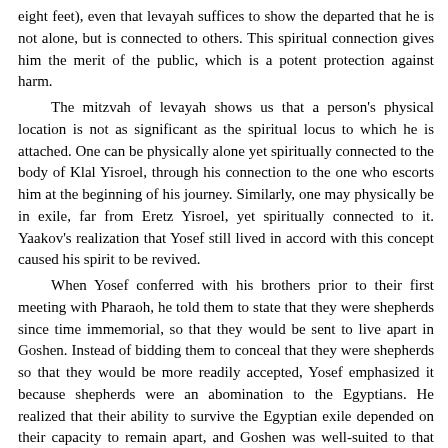eight feet), even that levayah suffices to show the departed that he is not alone, but is connected to others. This spiritual connection gives him the merit of the public, which is a potent protection against harm.
	The mitzvah of levayah shows us that a person's physical location is not as significant as the spiritual locus to which he is attached. One can be physically alone yet spiritually connected to the body of Klal Yisroel, through his connection to the one who escorts him at the beginning of his journey. Similarly, one may physically be in exile, far from Eretz Yisroel, yet spiritually connected to it. Yaakov's realization that Yosef still lived in accord with this concept caused his spirit to be revived.
	When Yosef conferred with his brothers prior to their first meeting with Pharaoh, he told them to state that they were shepherds since time immemorial, so that they would be sent to live apart in Goshen. Instead of bidding them to conceal that they were shepherds so that they would be more readily accepted, Yosef emphasized it because shepherds were an abomination to the Egyptians. He realized that their ability to survive the Egyptian exile depended on their capacity to remain apart, and Goshen was well-suited to that purpose. Yosef told his brothers that he was going to inform Pharaoh, "My brothers and my father's household, who are in the Land of Canaan have come to me," hinting to them that they were not only from the Land of Canaan, but in a sense they were still in the Land of Canaan, despite taking up temporary